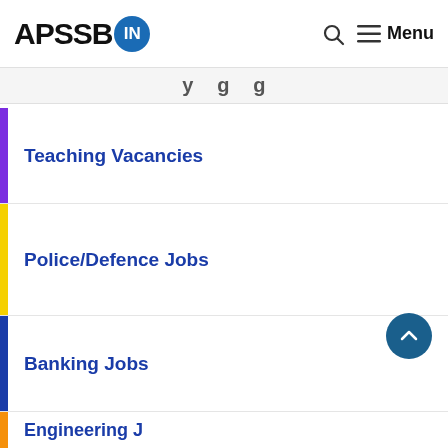[Figure (logo): APSSB.IN logo with circular blue badge containing 'IN' text]
Teaching Vacancies
Police/Defence Jobs
Banking Jobs
Engineering Jobs (partial)